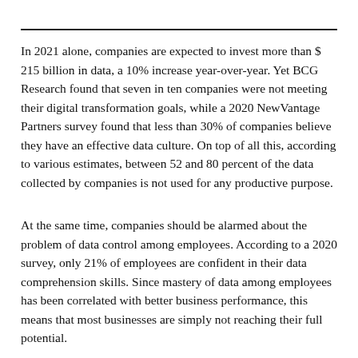In 2021 alone, companies are expected to invest more than $ 215 billion in data, a 10% increase year-over-year. Yet BCG Research found that seven in ten companies were not meeting their digital transformation goals, while a 2020 NewVantage Partners survey found that less than 30% of companies believe they have an effective data culture. On top of all this, according to various estimates, between 52 and 80 percent of the data collected by companies is not used for any productive purpose.
At the same time, companies should be alarmed about the problem of data control among employees. According to a 2020 survey, only 21% of employees are confident in their data comprehension skills. Since mastery of data among employees has been correlated with better business performance, this means that most businesses are simply not reaching their full potential.